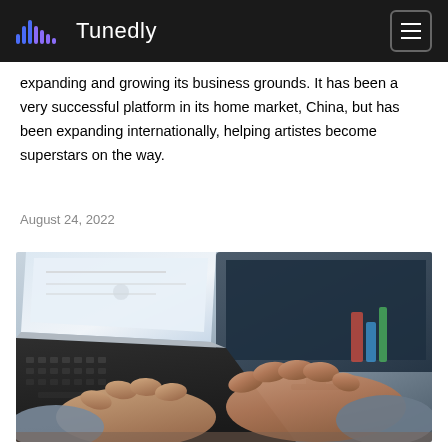Tunedly
expanding and growing its business grounds. It has been a very successful platform in its home market, China, but has been expanding internationally, helping artistes become superstars on the way.
August 24, 2022
[Figure (photo): Person typing on a laptop keyboard, with monitors visible in the background. The photo is taken from a close angle showing hands on the keyboard.]